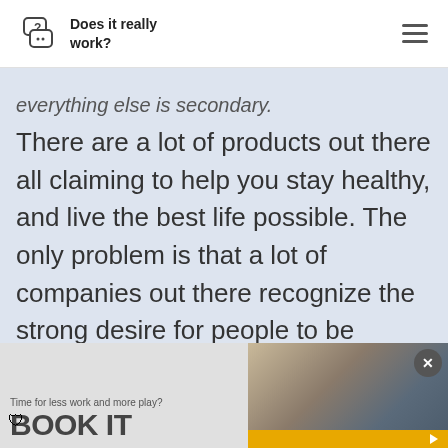Does it really work?
everything else is secondary. There are a lot of products out there all claiming to help you stay healthy, and live the best life possible. The only problem is that a lot of companies out there recognize the strong desire for people to be healthy, or to rid themselves of certain conditions, and
[Figure (photo): Advertisement banner: 'Time for less work and more play? BOOK IT' with a photo of a person at a laptop and a yellow bar at the bottom. Has a close (X) button and a blue shield icon.]